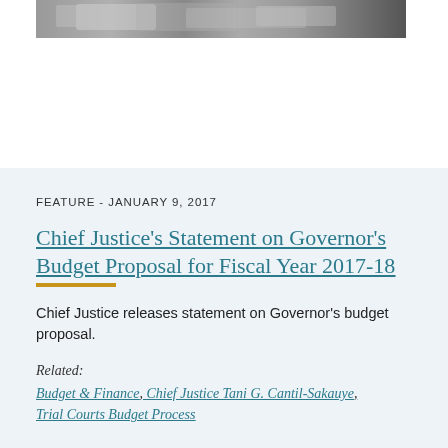[Figure (photo): Cropped photo strip showing what appears to be people at a meeting or judicial proceeding, partially visible at the top of the page.]
FEATURE - JANUARY 9, 2017
Chief Justice's Statement on Governor's Budget Proposal for Fiscal Year 2017-18
Chief Justice releases statement on Governor's budget proposal.
Related:
Budget & Finance, Chief Justice Tani G. Cantil-Sakauye, Trial Courts Budget Process